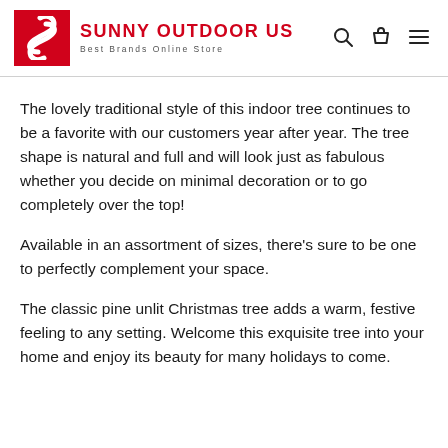SUNNY OUTDOOR US — Best Brands Online Store
The lovely traditional style of this indoor tree continues to be a favorite with our customers year after year. The tree shape is natural and full and will look just as fabulous whether you decide on minimal decoration or to go completely over the top!
Available in an assortment of sizes, there's sure to be one to perfectly complement your space.
The classic pine unlit Christmas tree adds a warm, festive feeling to any setting. Welcome this exquisite tree into your home and enjoy its beauty for many holidays to come.